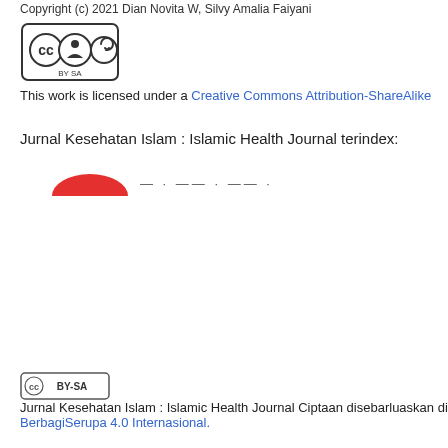Copyright (c) 2021 Dian Novita W, Silvy Amalia Faiyani
[Figure (logo): Creative Commons BY-SA license logo (large)]
This work is licensed under a Creative Commons Attribution-ShareAlike
Jurnal Kesehatan Islam : Islamic Health Journal terindex:
[Figure (logo): Sinta logo - red bird/arc shape with dashed text]
[Figure (logo): Creative Commons BY-SA license badge (small)]
Jurnal Kesehatan Islam : Islamic Health Journal Ciptaan disebarluaskan di BerbagiSerupa 4.0 Internasional.